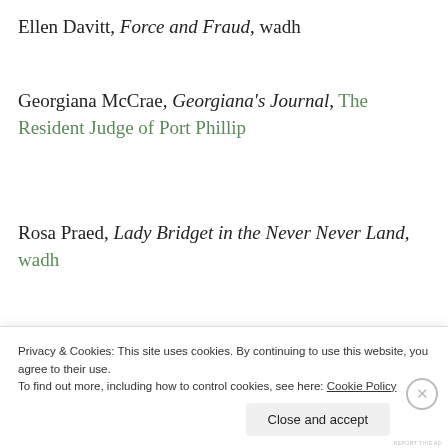Ellen Davitt, Force and Fraud, wadh
Georgiana McCrae, Georgiana's Journal, The Resident Judge of Port Phillip
Rosa Praed, Lady Bridget in the Never Never Land, wadh
[Figure (other): WooCommerce advertisement banner: 'How to start selling subscriptions online']
Tasma (aka Jessie Couvreur), Whispering Gums
Privacy & Cookies: This site uses cookies. By continuing to use this website, you agree to their use. To find out more, including how to control cookies, see here: Cookie Policy